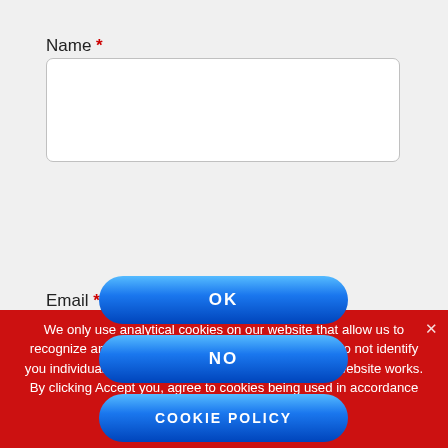Name *
[Figure (other): Empty text input field for Name]
Email *
We only use analytical cookies on our website that allow us to recognize and count the number of visitors, but they do not identify you individually. They help us to improve the way our website works. By clicking Accept you, agree to cookies being used in accordance with our Cookie Policy.
OK
NO
COOKIE POLICY